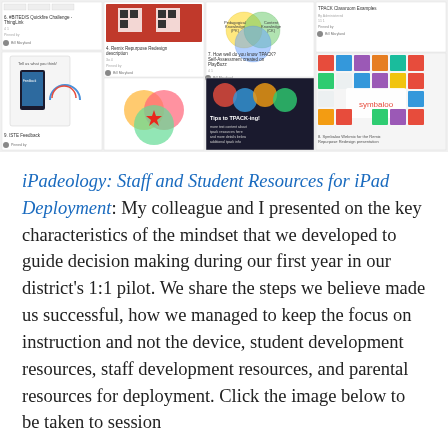[Figure (screenshot): Screenshot of a Pinterest board showing multiple pinned items related to TPACK, iPad resources, ISTE feedback, Symbaloo webmix, and educational technology tools. The board contains thumbnail images and text descriptions of various educational technology resources.]
iPadeology: Staff and Student Resources for iPad Deployment: My colleague and I presented on the key characteristics of the mindset that we developed to guide decision making during our first year in our district's 1:1 pilot. We share the steps we believe made us successful, how we managed to keep the focus on instruction and not the device, student development resources, staff development resources, and parental resources for deployment. Click the image below to be taken to session